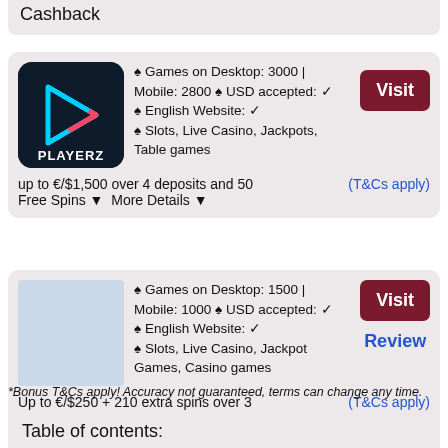Cashback
♠ Games on Desktop: 3000 | Mobile: 2800 ♠ USD accepted: ✓ ♠ English Website: ✓ ♠ Slots, Live Casino, Jackpots, Table games
Visit
up to €/$1,500 over 4 deposits and 50 Free Spins ▼ More Details ▼
(T&Cs apply)
♠ Games on Desktop: 1500 | Mobile: 1000 ♠ USD accepted: ✓ ♠ English Website: ✓ ♠ Slots, Live Casino, Jackpot Games, Casino games
Visit
Review
Up to €/$250 + 210 extra spins over 3 deposits ▼ More Details ▼
(T&Cs apply)
*Bonus T&Cs apply! Accuracy not guaranteed, terms can change any time.
Table of contents: